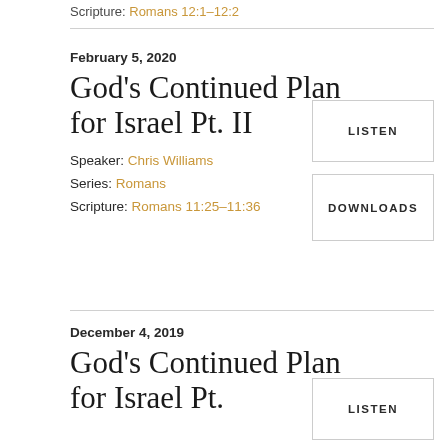Scripture: Romans 12:1–12:2
February 5, 2020
God's Continued Plan for Israel Pt. II
Speaker: Chris Williams
Series: Romans
Scripture: Romans 11:25–11:36
LISTEN
DOWNLOADS
December 4, 2019
God's Continued Plan for Israel Pt.
LISTEN
DOWNLOADS